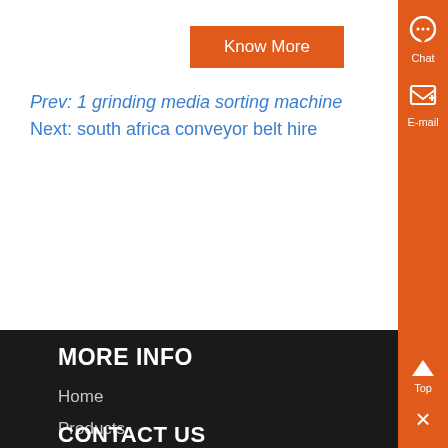Know More
Prev: 1 grinding media sorting machine
Next: south africa conveyor belt hire
MORE INFO
Home
Products
Solutions
Project
About
Contact
CONTACT US